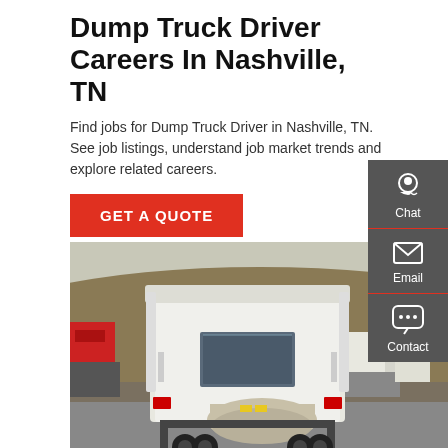Dump Truck Driver Careers In Nashville, TN
Find jobs for Dump Truck Driver in Nashville, TN. See job listings, understand job market trends and explore related careers.
GET A QUOTE
[Figure (photo): Rear view of white HOWO semi-trucks parked in a truck yard with a hilly, arid landscape in the background. Multiple trucks visible including red trucks on the left side.]
Chat
Email
Contact